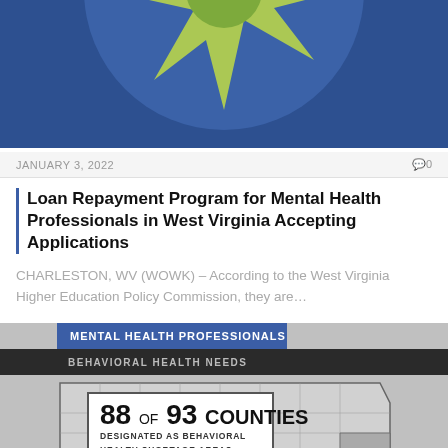[Figure (illustration): Decorative circular emblem with star/sun design in blue and yellow-green on dark blue background, partially cropped at top]
JANUARY 3, 2022
0
Loan Repayment Program for Mental Health Professionals in West Virginia Accepting Applications
CHARLESTON, WV (WOWK) – According to the West Virginia Higher Education Policy Commission, they are…
[Figure (infographic): Infographic showing a map of Nebraska with text overlay: MENTAL HEALTH PROFESSIONALS, BEHAVIORAL HEALTH NEEDS, 88 OF 93 COUNTIES DESIGNATED AS BEHAVIORAL HEALTH SHORTAGE AREAS]